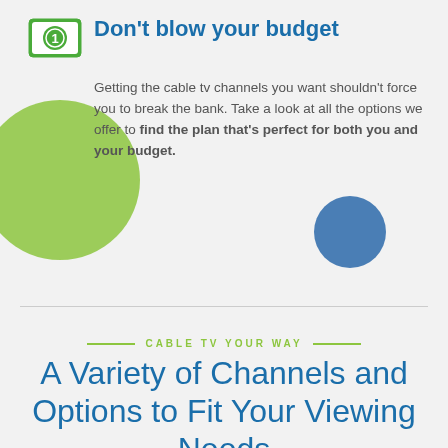[Figure (illustration): Green money bill icon with a dollar sign circle in the center, bordered by a green rectangle]
Don't blow your budget
Getting the cable tv channels you want shouldn't force you to break the bank. Take a look at all the options we offer to find the plan that's perfect for both you and your budget.
[Figure (illustration): Large green circle decorative element on left side]
[Figure (illustration): Small blue circle decorative element on right side]
CABLE TV YOUR WAY
A Variety of Channels and Options to Fit Your Viewing Needs